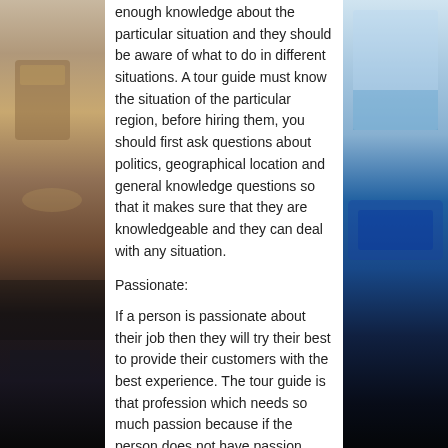[Figure (photo): Left side decorative photo strip showing hotel/travel interior with warm tones]
[Figure (photo): Right side decorative photo strip showing hotel room with ocean/blue tones]
enough knowledge about the particular situation and they should be aware of what to do in different situations. A tour guide must know the situation of the particular region, before hiring them, you should first ask questions about politics, geographical location and general knowledge questions so that it makes sure that they are knowledgeable and they can deal with any situation.
Passionate:
If a person is passionate about their job then they will try their best to provide their customers with the best experience. The tour guide is that profession which needs so much passion because if the person does not have passion, they will not be able to do their work properly. A tour guide is with you all along the tour so if they will have passion for the tour, then they would also want to travel to the best places. Check this link https://alzburgtours.com.au/skihire to find out more details.